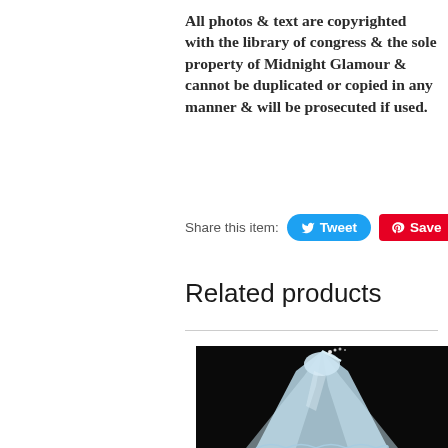All photos & text are copyrighted with the library of congress & the sole property of Midnight Glamour & cannot be duplicated or copied in any manner & will be prosecuted if used.
Share this item:  Tweet  Save  7
Related products
[Figure (photo): A light blue flowing gown/dress on a dark black background, shown hanging or on a model, with a long train spreading out at the bottom.]